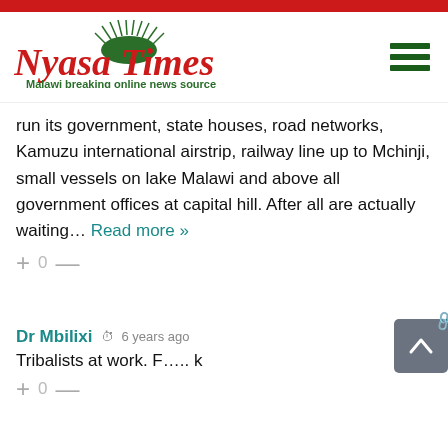[Figure (logo): Nyasa Times logo with red text and green tagline 'Malawi breaking online news source']
run its government, state houses, road networks, Kamuzu international airstrip, railway line up to Mchinji, small vessels on lake Malawi and above all government offices at capital hill. After all are actually waiting… Read more »
+ 0 —
Dr Mbilixi  6 years ago
Tribalists at work. F….. k
+ 0 —